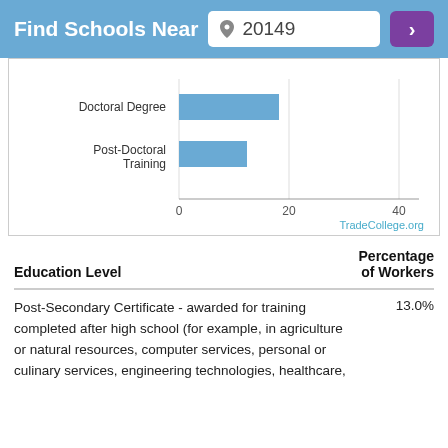Find Schools Near 20149
[Figure (bar-chart): Education levels (partial view)]
| Education Level | Percentage of Workers |
| --- | --- |
| Post-Secondary Certificate - awarded for training completed after high school (for example, in agriculture or natural resources, computer services, personal or culinary services, engineering technologies, healthcare, | 13.0% |